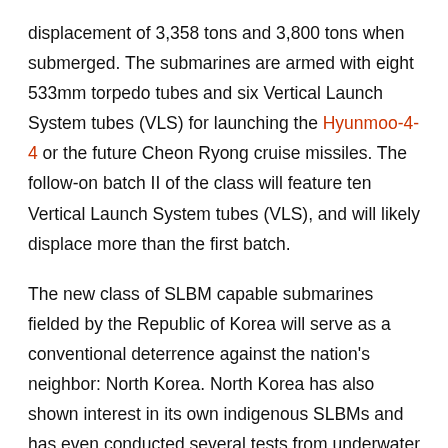displacement of 3,358 tons and 3,800 tons when submerged. The submarines are armed with eight 533mm torpedo tubes and six Vertical Launch System tubes (VLS) for launching the Hyunmoo-4-4 or the future Cheon Ryong cruise missiles. The follow-on batch II of the class will feature ten Vertical Launch System tubes (VLS), and will likely displace more than the first batch.
The new class of SLBM capable submarines fielded by the Republic of Korea will serve as a conventional deterrence against the nation's neighbor: North Korea. North Korea has also shown interest in its own indigenous SLBMs and has even conducted several tests from underwater barges. In May 2021, the US lifted the range limitations established under U.S.-South Korea missile guidelines. Thus, technically